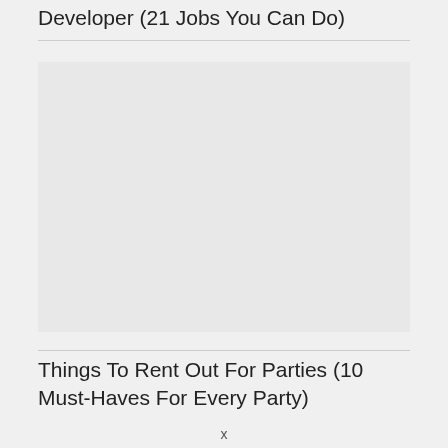Developer (21 Jobs You Can Do)
[Figure (photo): Placeholder image area, light gray background]
Things To Rent Out For Parties (10 Must-Haves For Every Party)